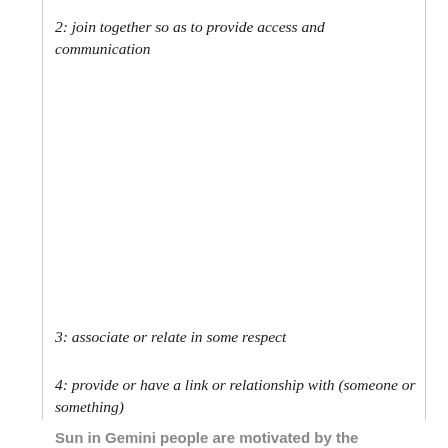2: join together so as to provide access and communication
3: associate or relate in some respect
4: provide or have a link or relationship with (someone or something)
Sun in Gemini people are motivated by the